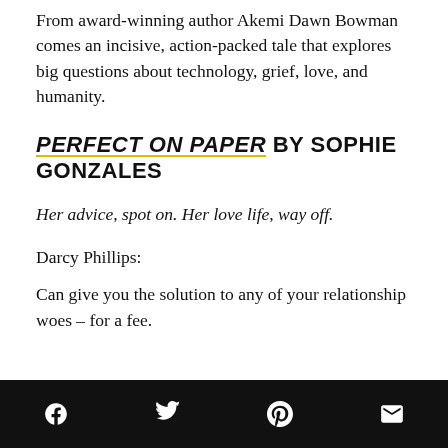From award-winning author Akemi Dawn Bowman comes an incisive, action-packed tale that explores big questions about technology, grief, love, and humanity.
PERFECT ON PAPER BY SOPHIE GONZALES
Her advice, spot on. Her love life, way off.
Darcy Phillips:
Can give you the solution to any of your relationship woes – for a fee.
Social share icons: Facebook, Twitter, Pinterest, Email